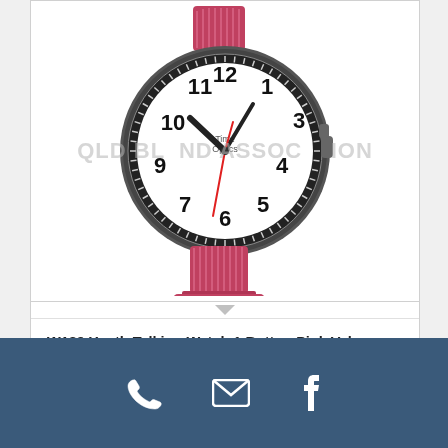[Figure (photo): A youth talking watch with a pink/red Velcro band. The watch face is white with large black numerals and a red second hand. The case is silver/gunmetal. Brand label reads 'Time Optics'. A watermark reads 'QLD BLIND ASSOCIATION'.]
W189 Youth Talking Watch 1 Button Pink Velcro Band
$80.00